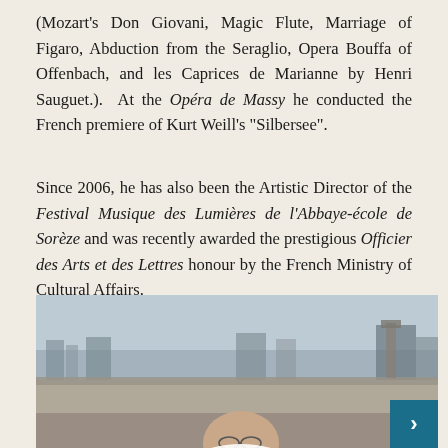(Mozart's Don Giovani, Magic Flute, Marriage of Figaro, Abduction from the Seraglio, Opera Bouffa of Offenbach, and les Caprices de Marianne by Henri Sauguet.).  At the Opéra de Massy he conducted the French premiere of Kurt Weill's "Silbersee".
Since 2006, he has also been the Artistic Director of the Festival Musique des Lumières de l'Abbaye-école de Sorèze and was recently awarded the prestigious Officier des Arts et des Lettres honour by the French Ministry of Cultural Affairs.
[Figure (photo): Outdoor photograph showing a bald man with glasses in the foreground (partially cropped at bottom), with a cityscape/rooftop view and overcast sky in the background. A teal navigation arrow button is visible in the bottom-right corner.]